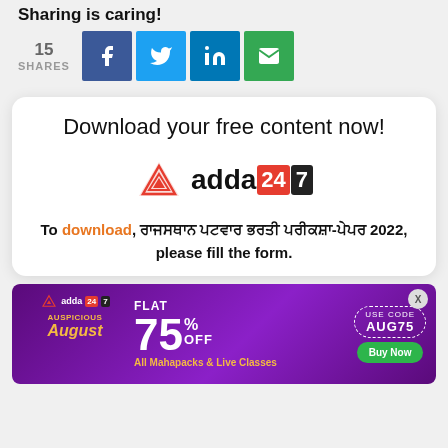Sharing is caring!
15 SHARES
[Figure (infographic): Social share buttons: Facebook (blue), Twitter (light blue), LinkedIn (dark blue), Email (green)]
Download your free content now!
[Figure (logo): adda247 logo with triangle icon, red and black badge]
To download, [Hindi text] 2022, please fill the form.
[Figure (infographic): Adda247 advertisement banner: FLAT 75% OFF All Mahapacks & Live Classes, USE CODE AUG75, Buy Now button, Auspicious August theme on purple background]